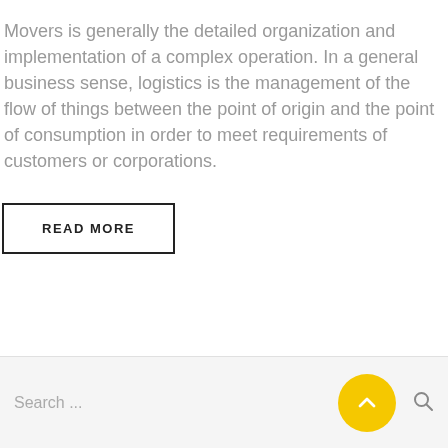Movers is generally the detailed organization and implementation of a complex operation. In a general business sense, logistics is the management of the flow of things between the point of origin and the point of consumption in order to meet requirements of customers or corporations.
READ MORE
Search ...